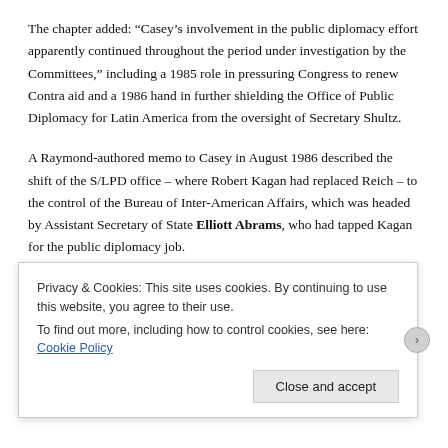The chapter added: “Casey’s involvement in the public diplomacy effort apparently continued throughout the period under investigation by the Committees,” including a 1985 role in pressuring Congress to renew Contra aid and a 1986 hand in further shielding the Office of Public Diplomacy for Latin America from the oversight of Secretary Shultz.
A Raymond-authored memo to Casey in August 1986 described the shift of the S/LPD office – where Robert Kagan had replaced Reich – to the control of the Bureau of Inter-American Affairs, which was headed by Assistant Secretary of State Elliott Abrams, who had tapped Kagan for the public diplomacy job.
Even after the Iran-Contra scandal unraveled in 1986-87 and
Privacy & Cookies: This site uses cookies. By continuing to use this website, you agree to their use.
To find out more, including how to control cookies, see here: Cookie Policy